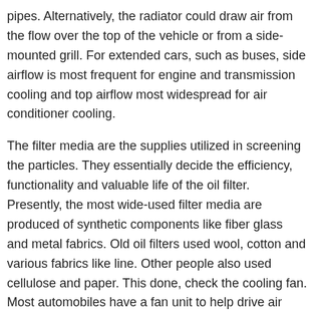pipes. Alternatively, the radiator could draw air from the flow over the top of the vehicle or from a side-mounted grill. For extended cars, such as buses, side airflow is most frequent for engine and transmission cooling and top airflow most widespread for air conditioner cooling.
The filter media are the supplies utilized in screening the particles. They essentially decide the efficiency, functionality and valuable life of the oil filter. Presently, the most wide-used filter media are produced of synthetic components like fiber glass and metal fabrics. Old oil filters used wool, cotton and various fabrics like line. Other people also used cellulose and paper. This done, check the cooling fan. Most automobiles have a fan unit to help drive air over the engine. Heat has been transmitted to it from the water technique and it have to be removed from the radiator and engine compartment. Appropriate operation of the fan is vital throughout idling, gear shifting and in the lower speed variety when there is not considerably air in circulation. See that the belt does not slip, but never make the typical error of tightening it to a point where the fan bearings are cramped. You should just be